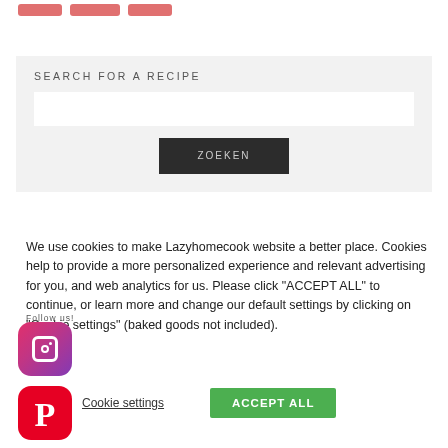[Figure (other): Three pink/red rounded rectangle buttons at the top]
SEARCH FOR A RECIPE
[Figure (other): Search input field (white rectangle)]
ZOEKEN
We use cookies to make Lazyhomecook website a better place. Cookies help to provide a more personalized experience and relevant advertising for you, and web analytics for us. Please click "ACCEPT ALL" to continue, or learn more and change our default settings by clicking on "Cookie settings" (baked goods not included).
Follow us!
[Figure (logo): Instagram icon - pink/purple gradient rounded square with camera outline]
[Figure (logo): Pinterest icon - red rounded square with P letter]
Cookie settings
ACCEPT ALL